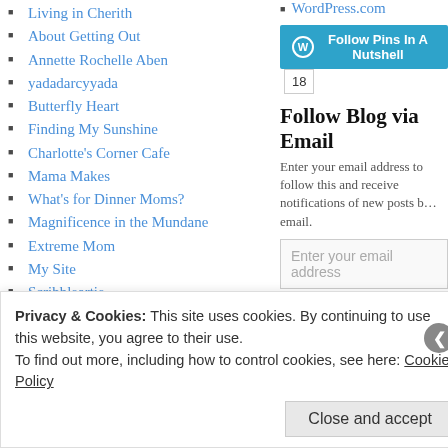Living in Cherith
About Getting Out
Annette Rochelle Aben
yadadarcyyada
Butterfly Heart
Finding My Sunshine
Charlotte's Corner Cafe
Mama Makes
What's for Dinner Moms?
Magnificence in the Mundane
Extreme Mom
My Site
Scribbleartie
Perspectives On....
OneDizzyBee
In Between Moderation
JenniferThayerKnight.com
My Heart of Mexico
WordPress.com
[Figure (other): Follow Pins In A Nutshell WordPress follow button with count of 18]
Follow Blog via Email
Enter your email address to follow this and receive notifications of new posts by email.
Enter your email address
Follow
Join 150 other followers
Privacy & Cookies: This site uses cookies. By continuing to use this website, you agree to their use.
To find out more, including how to control cookies, see here: Cookie Policy
Close and accept